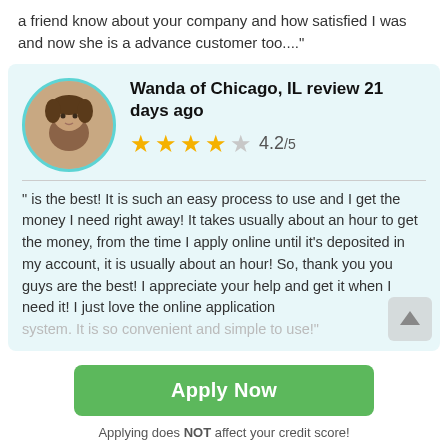a friend know about your company and how satisfied I was and now she is a advance customer too...."
Wanda of Chicago, IL review 21 days ago
4.2/5
" is the best! It is such an easy process to use and I get the money I need right away! It takes usually about an hour to get the money, from the time I apply online until it's deposited in my account, it is usually about an hour! So, thank you you guys are the best! I appreciate your help and get it when I need it! I just love the online application system. It is so convenient and simple to use!"
Apply Now
Applying does NOT affect your credit score!
No credit check to apply.
Helen of Ako, OK review 24